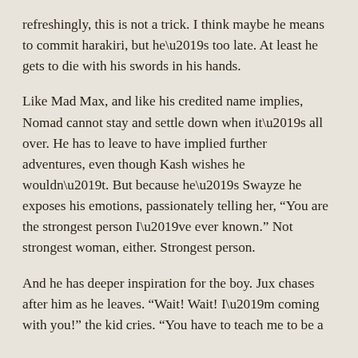refreshingly, this is not a trick. I think maybe he means to commit harakiri, but he's too late. At least he gets to die with his swords in his hands.
Like Mad Max, and like his credited name implies, Nomad cannot stay and settle down when it's all over. He has to leave to have implied further adventures, even though Kash wishes he wouldn't. But because he's Swayze he exposes his emotions, passionately telling her, “You are the strongest person I’ve ever known.” Not strongest woman, either. Strongest person.
And he has deeper inspiration for the boy. Jux chases after him as he leaves. “Wait! Wait! I’m coming with you!” the kid cries. “You have to teach me to be a